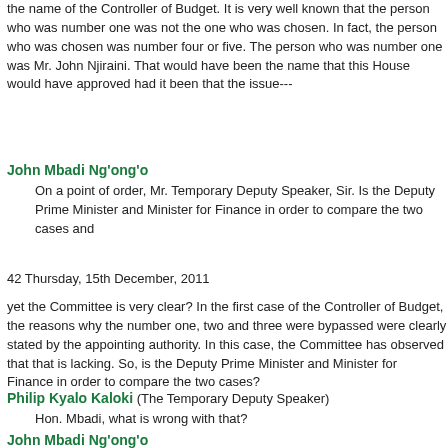the name of the Controller of Budget. It is very well known that the person who was number one was not the one who was chosen. In fact, the person who was chosen was number four or five. The person who was number one was Mr. John Njiraini. That would have been the name that this House would have approved had it been that the issue---
John Mbadi Ng'ong'o
On a point of order, Mr. Temporary Deputy Speaker, Sir. Is the Deputy Prime Minister and Minister for Finance in order to compare the two cases and
42 Thursday, 15th December, 2011
yet the Committee is very clear? In the first case of the Controller of Budget, the reasons why the number one, two and three were bypassed were clearly stated by the appointing authority. In this case, the Committee has observed that that is lacking. So, is the Deputy Prime Minister and Minister for Finance in order to compare the two cases?
Philip Kyalo Kaloki (The Temporary Deputy Speaker)
Hon. Mbadi, what is wrong with that?
John Mbadi Ng'ong'o